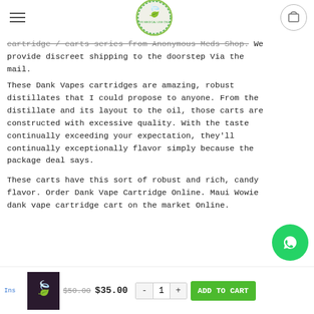[hamburger menu] [logo] [cart icon]
cartridge / carts series from Anonymous Meds Shop. We provide discreet shipping to the doorstep Via the mail.
These Dank Vapes cartridges are amazing, robust distillates that I could propose to anyone. From the distillate and its layout to the oil, those carts are constructed with excessive quality. With the taste continually exceeding your expectation, they'll continually exceptionally flavor simply because the package deal says.
These carts have this sort of robust and rich, candy flavor. Order Dank Vape Cartridge Online. Maui Wowie dank vape cartridge cart on the market Online.
Ins [thumbnail] $50.00  $35.00  - 1 +  ADD TO CART